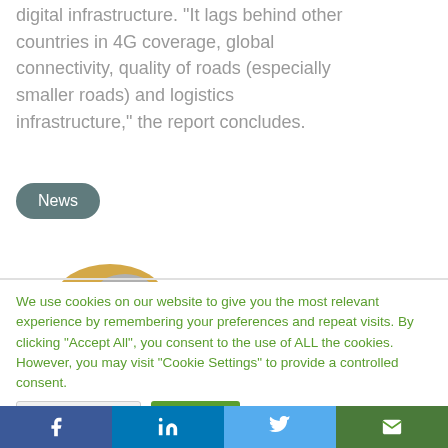digital infrastructure. "It lags behind other countries in 4G coverage, global connectivity, quality of roads (especially smaller roads) and logistics infrastructure," the report concludes.
News
[Figure (photo): Partially visible circular profile image at bottom of article section]
We use cookies on our website to give you the most relevant experience by remembering your preferences and repeat visits. By clicking "Accept All", you consent to the use of ALL the cookies. However, you may visit "Cookie Settings" to provide a controlled consent.
Cookie Settings
Accept All
Facebook | LinkedIn | Twitter | Email